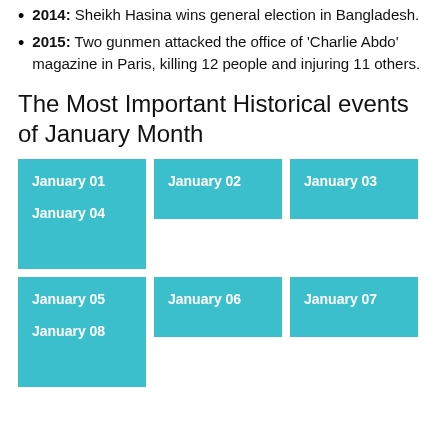2014: Sheikh Hasina wins general election in Bangladesh.
2015: Two gunmen attacked the office of 'Charlie Abdo' magazine in Paris, killing 12 people and injuring 11 others.
The Most Important Historical events of January Month
[Figure (infographic): Grid of teal/cyan colored tiles labeled January 01 through January 08, arranged in two groups of four tiles each.]